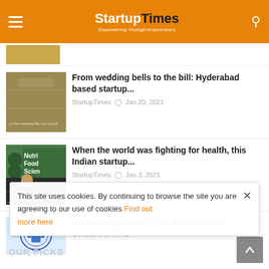StartupTimes — Empowering YoungEntrepreneurs
[Figure (photo): Partial thumbnail of an article at top, cut off]
From wedding bells to the bill: Hyderabad based startup...
StartupTimes  Jan 20, 2021
[Figure (photo): Thumbnail showing a man speaking at NutriFoodScience event]
When the world was fighting for health, this Indian startup...
StartupTimes  Jan 3, 2021
[Figure (logo): XIMB university logo]
Communique 2020 - The Annual Media Conclave of XIMB
This site uses cookies. By continuing to browse the site you are agreeing to our use of cookies Find out more here
OUR PICKS